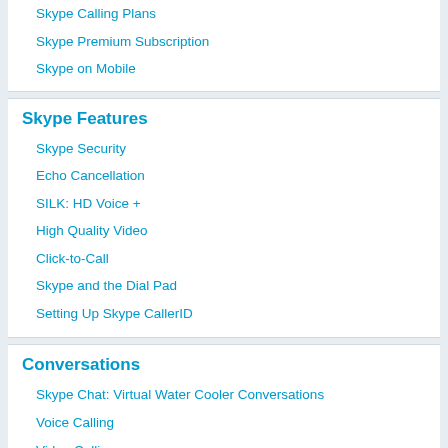Skype Calling Plans
Skype Premium Subscription
Skype on Mobile
Skype Features
Skype Security
Echo Cancellation
SILK: HD Voice +
High Quality Video
Click-to-Call
Skype and the Dial Pad
Setting Up Skype CallerID
Conversations
Skype Chat: Virtual Water Cooler Conversations
Voice Calling
Video Calling
Multi-Party Conversations
Tips for Using Skype
Case Studies